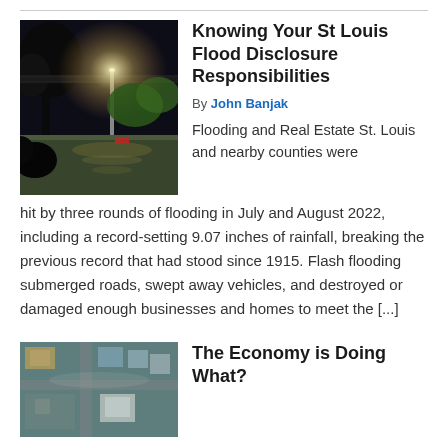[Figure (photo): Night flood scene with street lamp illuminating flooded road, trees silhouetted against dark sky]
Knowing Your St Louis Flood Disclosure Responsibilities
By John Banjak
Flooding and Real Estate St. Louis and nearby counties were hit by three rounds of flooding in July and August 2022, including a record-setting 9.07 inches of rainfall, breaking the previous record that had stood since 1915. Flash flooding submerged roads, swept away vehicles, and destroyed or damaged enough businesses and homes to meet the [...]
[Figure (photo): Aerial view of flooded area with buildings and roads submerged]
The Economy is Doing What?